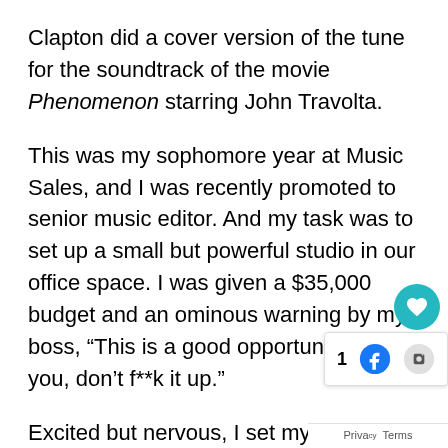Clapton did a cover version of the tune for the soundtrack of the movie Phenomenon starring John Travolta.
This was my sophomore year at Music Sales, and I was recently promoted to senior music editor. And my task was to set up a small but powerful studio in our office space. I was given a $35,000 budget and an ominous warning by my boss, “This is a good opportunity for you, don’t f**k it up.”
Excited but nervous, I set my mind to the task. So, as I prepared for my train ride home, I reached into my black leather knapsack, grabbed my Sony Walkman, selected a CD out of my CD wallet, pressed play, and folded the latest copy of Mix